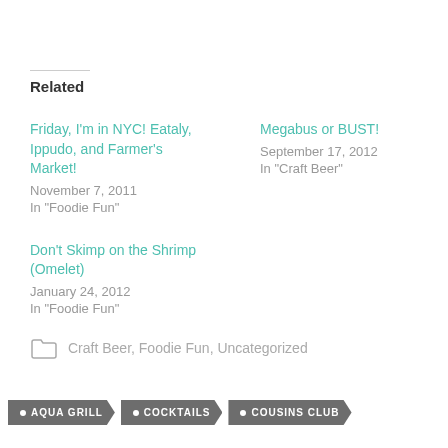Related
Friday, I'm in NYC! Eataly, Ippudo, and Farmer's Market!
November 7, 2011
In "Foodie Fun"
Megabus or BUST!
September 17, 2012
In "Craft Beer"
Don't Skimp on the Shrimp (Omelet)
January 24, 2012
In "Foodie Fun"
Craft Beer, Foodie Fun, Uncategorized
• AQUA GRILL  • COCKTAILS  • COUSINS CLUB